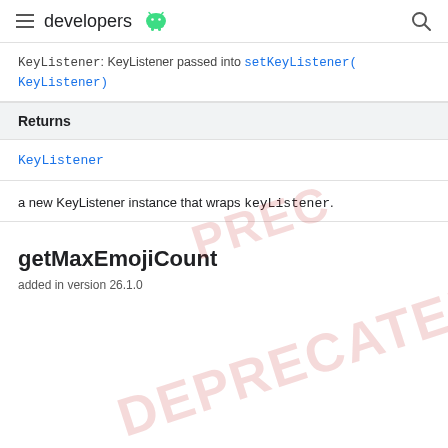developers
KeyListener: KeyListener passed into setKeyListener(KeyListener)
| Returns |
| --- |
| KeyListener |
a new KeyListener instance that wraps keyListener.
getMaxEmojiCount
added in version 26.1.0